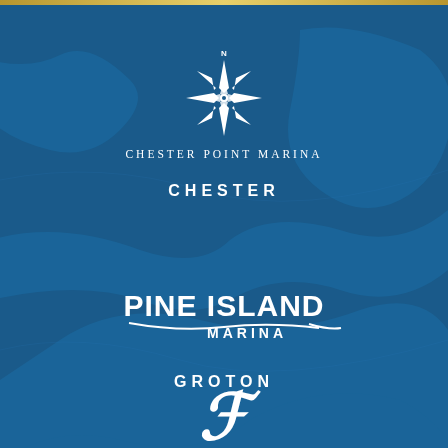[Figure (logo): Chester Point Marina compass rose logo with text 'Chester Point Marina' in white serif letters on dark blue background]
CHESTER
[Figure (logo): Pine Island Marina logo in bold white letters with swoosh underline on dark blue background]
GROTON
[Figure (logo): Third marina logo partially visible at bottom, appears to be a script/cursive style logo]